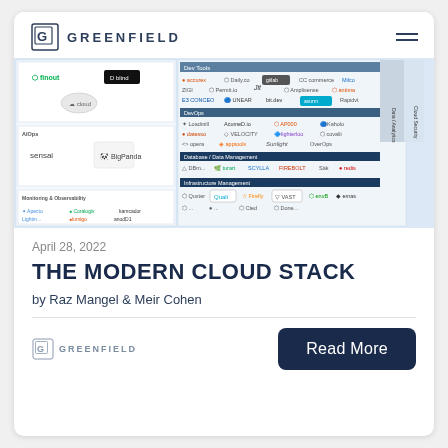GREENFIELD
[Figure (screenshot): Screenshot of the Modern Cloud Stack landscape diagram showing various cloud vendor logos organized into categories including Dev Tools, DevOps, Database/Data Management, Infrastructure Management, AIOps, Monitoring & Observability, Data/Analytics, and Cloud Security.]
April 28, 2022
THE MODERN CLOUD STACK
by Raz Mangel & Meir Cohen
Read More